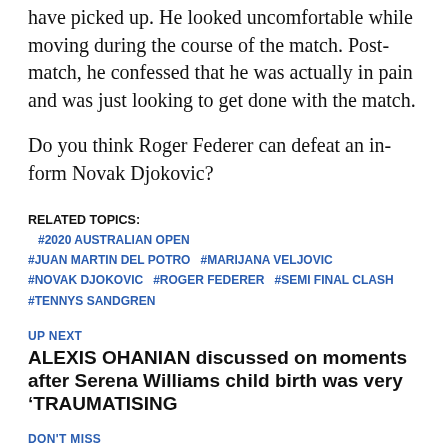have picked up. He looked uncomfortable while moving during the course of the match. Post-match, he confessed that he was actually in pain and was just looking to get done with the match.
Do you think Roger Federer can defeat an in-form Novak Djokovic?
RELATED TOPICS: #2020 AUSTRALIAN OPEN #JUAN MARTIN DEL POTRO #MARIJANA VELJOVIC #NOVAK DJOKOVIC #ROGER FEDERER #SEMI FINAL CLASH #TENNYS SANDGREN
UP NEXT
ALEXIS OHANIAN discussed on moments after Serena Williams child birth was very 'TRAUMATISING
DON'T MISS
“He Deserves to be Up There”- Novak Djokovic Lauds Roger Federer Ahead of Australian Open 2020